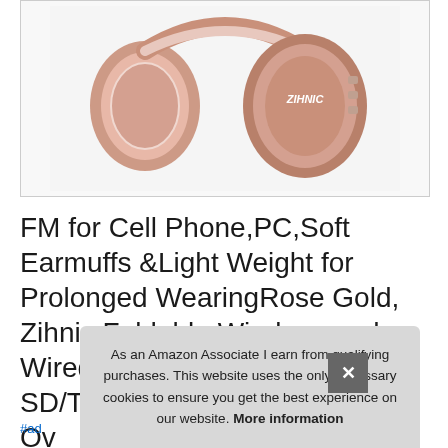[Figure (photo): Rose gold Zihnic over-ear headphones photographed on white background. The headphones are foldable with white padding on the earcups and rose gold metallic finish. The brand name 'ZIHNIC' is visible on the earcup.]
FM for Cell Phone,PC,Soft Earmuffs &Light Weight for Prolonged WearingRose Gold, Zihnic Foldable Wireless and Wired Stereo Headset Micro SD/TF Bluetooth Headphones Ov
#ad
As an Amazon Associate I earn from qualifying purchases. This website uses the only necessary cookies to ensure you get the best experience on our website. More information